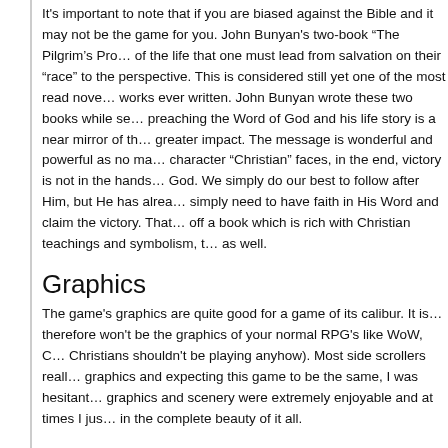It's important to note that if you are biased against the Bible and it may not be the game for you. John Bunyan's two-book "The Pilgrim's Progress" tells of the life that one must lead from salvation on their "race" to the heavenly perspective. This is considered still yet one of the most read novels and religious works ever written. John Bunyan wrote these two books while serving time for preaching the Word of God and his life story is a near mirror of the story for greater impact. The message is wonderful and powerful as no matter what the character "Christian" faces, in the end, victory is not in the hands of man but God. We simply do our best to follow after Him, but He has already won. We simply need to have faith in His Word and claim the victory. That is just to cap off a book which is rich with Christian teachings and symbolism, there is more as well.
Graphics
The game's graphics are quite good for a game of its calibur. It is an indie and therefore won't be the graphics of your normal RPG's like WoW, or EverQuest (which Christians shouldn't be playing anyhow). Most side scrollers really have poor graphics and expecting this game to be the same, I was hesitant at first, but the graphics and scenery were extremely enjoyable and at times I just had to take it in the complete beauty of it all.
RPG Element